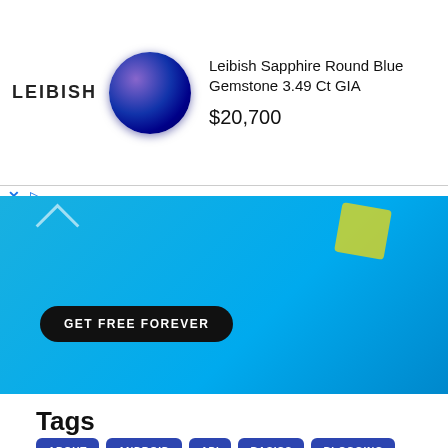[Figure (screenshot): Leibish advertisement banner showing a sapphire round blue gemstone with logo, title 'Leibish Sapphire Round Blue Gemstone 3.49 Ct GIA' and price $20,700]
[Figure (screenshot): Blue promotional banner with 'GET FREE FOREVER' button and a man in a blue shirt]
Tags
ABOUT
ANDROID
API
BASICS
BLOGGING
BOOK
CACHE
CAKEPHP
CMS
CODEFOREST
CSS
CSS3
DOCTRINE2
FRAMEWORK
GHOST
GIVEAWAY
GOOGLE
HTML5
HTTP
JAVASCRIPT
JQUERY
JQUERY MOBILE
JSON
LARAVEL
MOBILE